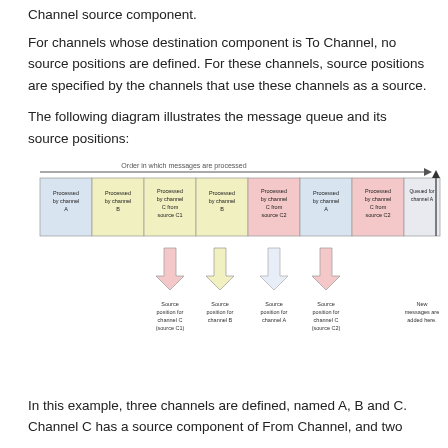Channel source component.
For channels whose destination component is To Channel, no source positions are defined. For these channels, source positions are specified by the channels that use these channels as a source.
The following diagram illustrates the message queue and its source positions:
[Figure (engineering-diagram): Diagram showing message queue with source positions. A horizontal arrow labeled 'Order in which messages are processed' spans the top. Below are colored boxes representing queue slots: Processed by channel A (blue), Processed by channel B (yellow), Processed by channel C from source C1 (yellow), Processed by channel B (yellow), Processed by channel C from source C2 (pink), Processed by channel A (blue), Processed by channel C from source C2 (pink), Queued for channel A (white/gray), Queued for channel C from source C1 (pink), Queued for channel B (white/gray), Queued for channel C from source C2 (pink). Below the queue, arrows point upward indicating source positions: Source position for channel C (source C1), Source position for channel B, Source position for channel A, Source position for channel C (source C2). At the right: New messages are added here.]
In this example, three channels are defined, named A, B and C. Channel C has a source component of From Channel, and two